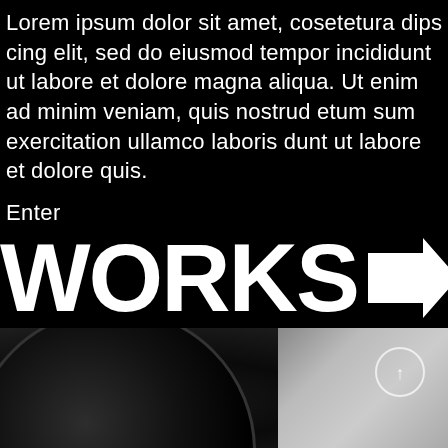Lorem ipsum dolor sit amet, cosetetura dips cing elit, sed do eiusmod tempor incididunt ut labore et dolore magna aliqua. Ut enim ad minim veniam, quis nostrud etum sum exercitation ullamco laboris dunt ut labore et dolore quis.
Enter
WORKS →
[Figure (photo): Close-up black and white photo of a camera lens or equipment, dark on the left with a lighter grey area on the upper right containing a small circular icon.]